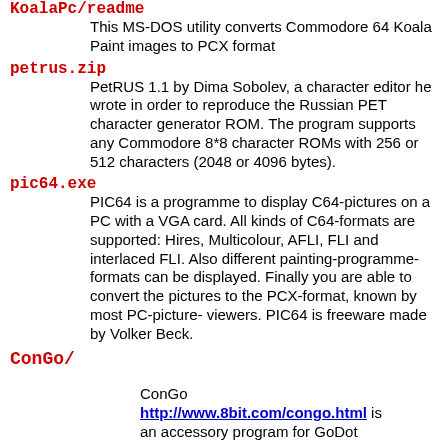KoalaPc/readme — This MS-DOS utility converts Commodore 64 Koala Paint images to PCX format
petrus.zip — PetRUS 1.1 by Dima Sobolev, a character editor he wrote in order to reproduce the Russian PET character generator ROM. The program supports any Commodore 8*8 character ROMs with 256 or 512 characters (2048 or 4096 bytes).
pic64.exe — PIC64 is a programme to display C64-pictures on a PC with a VGA card. All kinds of C64-formats are supported: Hires, Multicolour, AFLI, FLI and interlaced FLI. Also different painting-programme-formats can be displayed. Finally you are able to convert the pictures to the PCX-format, known by most PC-picture- viewers. PIC64 is freeware made by Volker Beck.
ConGo/ — ConGo http://www.8bit.com/congo.html is an accessory program for GoDot.